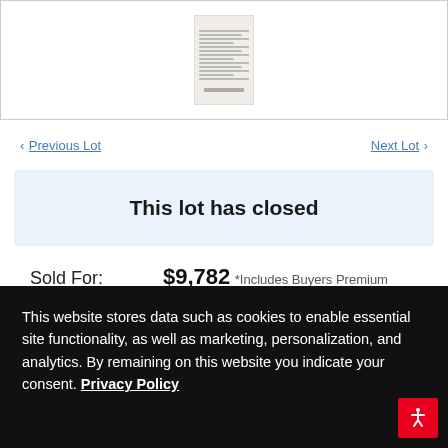[Figure (illustration): Thumbnail image of a document/letter on a light beige background with a horizontal bar beneath it]
‹ Previous Lot   Next Lot ›
This lot has closed
Sold For:   $9,782
*Includes Buyers Premium
Estimate: $0+
This website stores data such as cookies to enable essential site functionality, as well as marketing, personalization, and analytics. By remaining on this website you indicate your consent. Privacy Policy